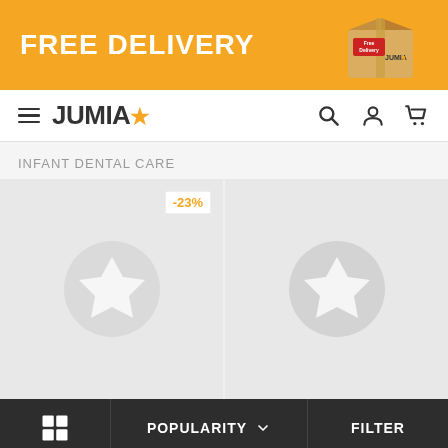[Figure (infographic): Jumia free delivery banner with orange background, white bold text 'FREE DELIVERY' and a cardboard box with Jumia label]
JUMIA (logo with star icon) — navigation bar with hamburger menu, search, account, and cart icons
INFANT DENTAL CARE
[Figure (screenshot): Two product card placeholders with Jumia star logo watermarks on grey background. First card has -23% discount badge.]
POPULARITY ∨
FILTER
This website uses cookies. For further information on how we use cookies you can read our Privacy and Cookie notice